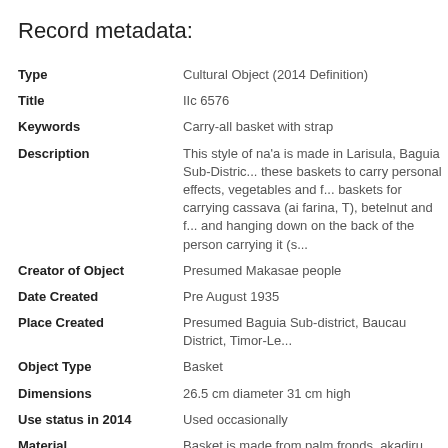Record metadata:
| Field | Value |
| --- | --- |
| Type | Cultural Object (2014 Definition) |
| Title | IIc 6576 |
| Keywords | Carry-all basket with strap |
| Description | This style of na'a is made in Larisula, Baguia Sub-District. these baskets to carry personal effects, vegetables and f... baskets for carrying cassava (ai farina, T), betelnut and f... and hanging down on the back of the person carrying it (s... |
| Creator of Object | Presumed Makasae people |
| Date Created | Pre August 1935 |
| Place Created | Presumed Baguia Sub-district, Baucau District, Timor-Le... |
| Object Type | Basket |
| Dimensions | 26.5 cm diameter 31 cm high |
| Use status in 2014 | Used occasionally |
| Material | Basket is made from palm fronds, akadiru, M, T (Borassu... |
| Technique | Hand woven |
| Institution/Holder: object | Museum der Kulturen Basel |
| Collector | Dr Alfred Bühler |